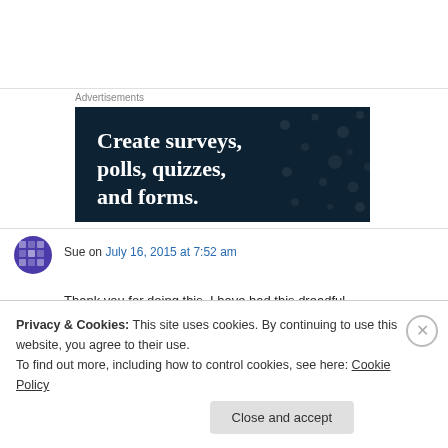Advertisements
[Figure (illustration): Dark navy blue advertisement banner with white bold serif text reading 'Create surveys, polls, quizzes, and forms.' with decorative dot pattern in background.]
Sue on July 16, 2015 at 7:52 am
Thank you for doing this. I have had this dreadful
Privacy & Cookies: This site uses cookies. By continuing to use this website, you agree to their use.
To find out more, including how to control cookies, see here: Cookie Policy
Close and accept